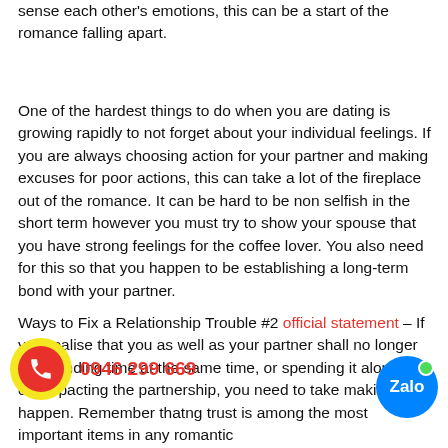sense each other's emotions, this can be a start of the romance falling apart.
One of the hardest things to do when you are dating is growing rapidly to not forget about your individual feelings. If you are always choosing action for your partner and making excuses for poor actions, this can take a lot of the fireplace out of the romance. It can be hard to be non selfish in the short term however you must try to show your spouse that you have strong feelings for the coffee lover. You also need for this so that you happen to be establishing a long-term bond with your partner.
Ways to Fix a Relationship Trouble #2 official statement – If you realise that you as well as your partner shall no longer be spending time at the same time, or spending it alongside o[...] ly impacting the partnership, you need to take making that happen. Remember that [...] ng trust is among the most important items in any romantic